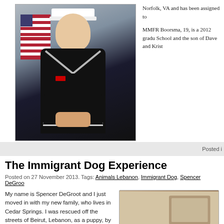[Figure (photo): Military portrait of a young sailor in dress navy uniform with white hat, standing in front of an American flag]
Norfolk, VA and has been assigned to
MMFR Boorsma, 19, is a 2012 gradu School and the son of Dave and Krist
Posted i
The Immigrant Dog Experience
Posted on 27 November 2013. Tags: Animals Lebanon, Immigrant Dog, Spencer DeGroo
My name is Spencer DeGroot and I just moved in with my new family, who lives in Cedar Springs. I was rescued off the streets of Beirut, Lebanon, as a puppy, by Animals Lebanon.
After I was healthy enough to fly, I began my
[Figure (photo): Interior room scene showing a dark wooden coffee table and furniture]